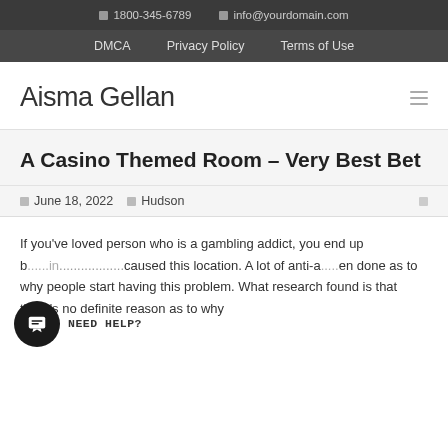☎ 1800-345-6789   ✉ info@yourdomain.com
DMCA   Privacy Policy   Terms of Use
Aisma Gellan
A Casino Themed Room – Very Best Bet
June 18, 2022   Hudson
If you've loved person who is a gambling addict, you end up b...in...caused this location. A lot of anti-a...en done as to why people start having this problem. What research found is that there's no definite reason as to why